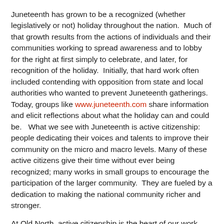Juneteenth has grown to be a recognized (whether legislatively or not) holiday throughout the nation.  Much of that growth results from the actions of individuals and their communities working to spread awareness and to lobby for the right at first simply to celebrate, and later, for recognition of the holiday.  Initially, that hard work often included contending with opposition from state and local authorities who wanted to prevent Juneteenth gatherings. Today, groups like www.juneteenth.com share information and elicit reflections about what the holiday can and could be.   What we see with Juneteenth is active citizenship: people dedicating their voices and talents to improve their community on the micro and macro levels. Many of these active citizens give their time without ever being recognized; many works in small groups to encourage the participation of the larger community.  They are fueled by a dedication to making the national community richer and stronger.
At Old North, active citizenship is the heart of our work.  We see it as the ideal that motivated the lantern holders, Revere, and the other riders; we see it in Longfellow, using his skill with the pen to inspire a new generation toward unity and courage.  We aspire to it